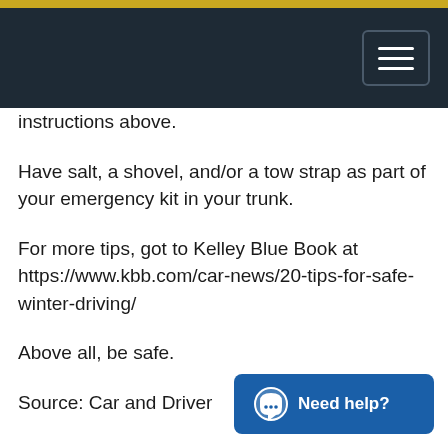instructions above.
Have salt, a shovel, and/or a tow strap as part of your emergency kit in your trunk.
For more tips, got to Kelley Blue Book at https://www.kbb.com/car-news/20-tips-for-safe-winter-driving/
Above all, be safe.
Source: Car and Driver